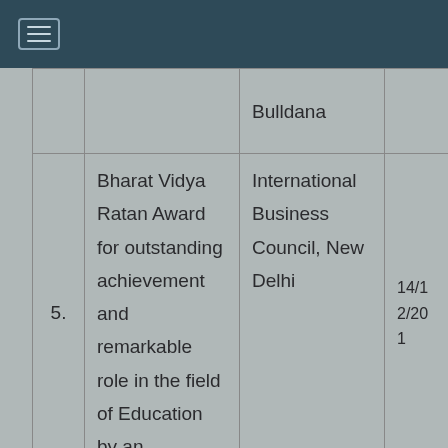☰ (navigation menu icon)
| No. | Award/Achievement | Organization | Date |
| --- | --- | --- | --- |
|  | Bulldana |  |  |
| 5. | Bharat Vidya Ratan Award for outstanding achievement and remarkable role in the field of Education by an | International Business Council, New Delhi | 14/12/20... |